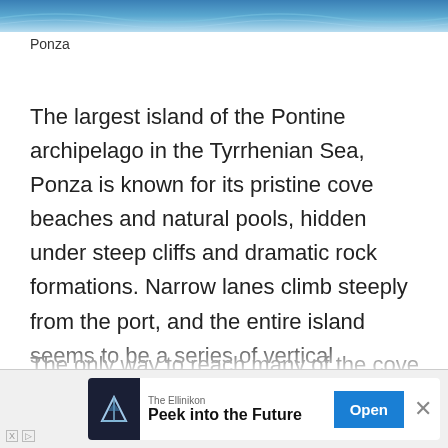[Figure (photo): Blue water/sea photo banner at the top of the page]
Ponza
The largest island of the Pontine archipelago in the Tyrrhenian Sea, Ponza is known for its pristine cove beaches and natural pools, hidden under steep cliffs and dramatic rock formations. Narrow lanes climb steeply from the port, and the entire island seems to be a series of vertical extremes. Highlights are the natural pools at Cala Feola and the spectacular sea arch of Arco Naturale.
The only way to reach many of the cove beaches and sea caves that carve its coastline is by boat, and the best way to see the island is to circle it by water.
[Figure (screenshot): Advertisement banner: The Ellinikon — Peek into the Future, with Open button and close X]